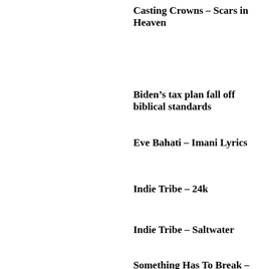Casting Crowns – Scars in Heaven
Biden's tax plan fall off biblical standards
Eve Bahati – Imani Lyrics
Indie Tribe – 24k
Indie Tribe – Saltwater
Something Has To Break – Kierra Sheard